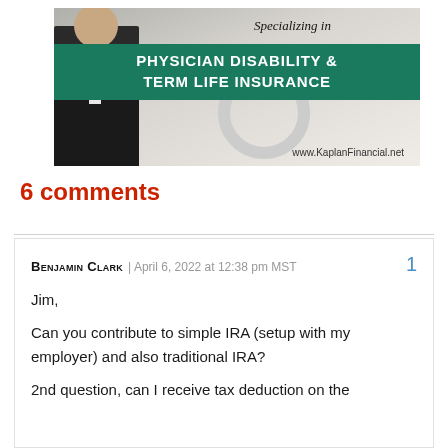[Figure (advertisement): Advertisement banner for Kaplan Financial, specializing in Physician Disability & Term Life Insurance. Shows a professional man in a suit alongside a stethoscope image. Green banner with white bold text. Website: www.KaplanFinancial.net]
6 comments
Benjamin Clark | April 6, 2022 at 12:38 pm MST  1

Jim,

Can you contribute to simple IRA (setup with my employer) and also traditional IRA?

2nd question, can I receive tax deduction on the